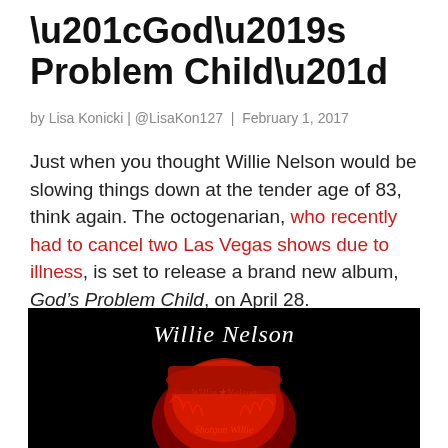“God’s Problem Child”
by Lisa Konicki | @LisaKon127 | February 1, 2017
Just when you thought Willie Nelson would be slowing things down at the tender age of 83, think again. The octogenarian, who recently had to cancel two Las Vegas shows due to illness, is set to release a brand new album, God’s Problem Child, on April 28.
[Figure (photo): Album cover for Willie Nelson's God's Problem Child: black background with white cursive 'Willie Nelson' at top and a red-lit close-up of Willie Nelson's face and hat below, with 'Willie Nelson' text visible on the hatband.]